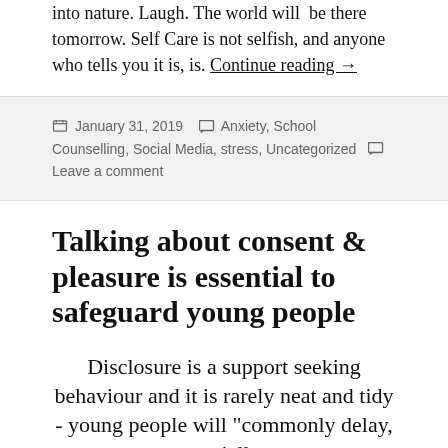into nature. Laugh. The world will be there tomorrow. Self Care is not selfish, and anyone who tells you it is, is. Continue reading →
January 31, 2019   Anxiety, School Counselling, Social Media, stress, Uncategorized   Leave a comment
Talking about consent & pleasure is essential to safeguard young people
Disclosure is a support seeking behaviour and it is rarely neat and tidy - young people will "commonly delay, partially